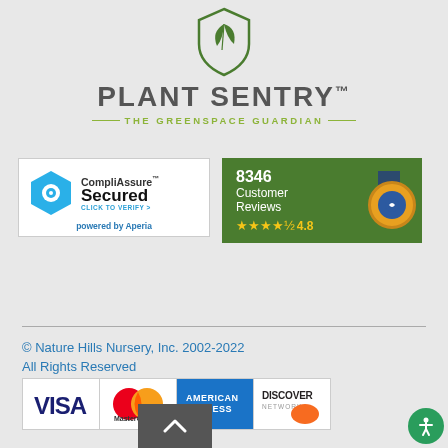[Figure (logo): Plant Sentry shield logo with green leaf, brand name PLANT SENTRY TM, tagline THE GREENSPACE GUARDIAN]
[Figure (logo): CompliAssure Secured badge - click to verify, powered by Aperia]
[Figure (logo): 8346 Customer Reviews badge with star rating 4.8 out of 5]
© Nature Hills Nursery, Inc. 2002-2022
All Rights Reserved
[Figure (logo): Payment method logos: VISA, MasterCard, American Express Cards, Discover Network]